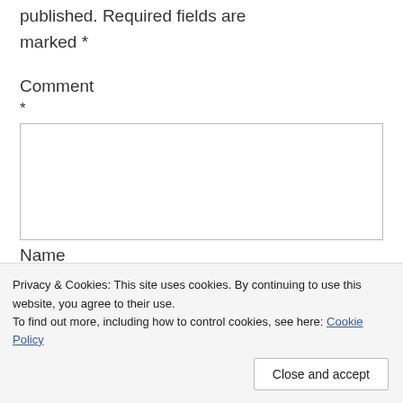Your email address will not be published. Required fields are marked *
Comment
*
[Figure (other): Empty comment text area input box]
Name
Privacy & Cookies: This site uses cookies. By continuing to use this website, you agree to their use.
To find out more, including how to control cookies, see here: Cookie Policy
Close and accept